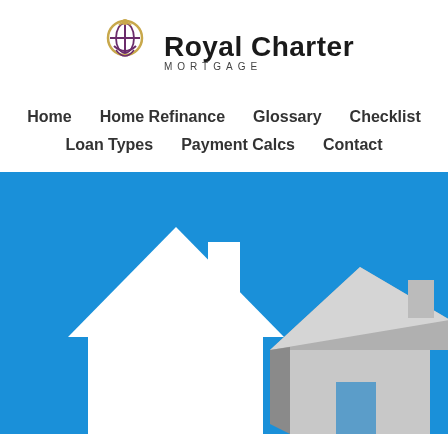[Figure (logo): Royal Charter Mortgage logo with compass/globe icon in purple and gold, company name in bold black]
Home
Home Refinance
Glossary
Checklist
Loan Types
Payment Calcs
Contact
[Figure (photo): Two house models on a bright blue background — one flat white silhouette on the left, one 3D grey paper house model on the right]